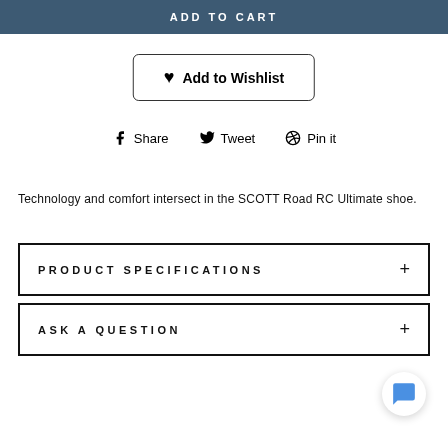ADD TO CART
♥ Add to Wishlist
Share   Tweet   Pin it
Technology and comfort intersect in the SCOTT Road RC Ultimate shoe.
PRODUCT SPECIFICATIONS +
ASK A QUESTION +